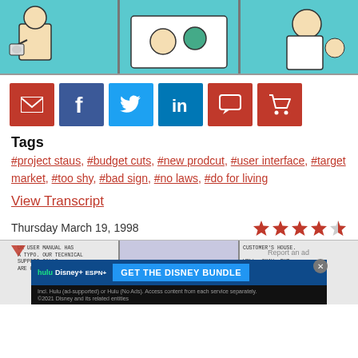[Figure (illustration): Three-panel Dilbert comic strip with teal background, showing cartoon characters in various scenes]
[Figure (infographic): Social sharing buttons row: email (red), Facebook (dark blue), Twitter (light blue), LinkedIn (blue), comments (red), cart (red)]
Tags
#project staus, #budget cuts, #new prodcut, #user interface, #target market, #too shy, #bad sign, #no laws, #do for living
View Transcript
Thursday March 19, 1998
[Figure (illustration): Star rating showing 4 out of 5 stars in red]
[Figure (illustration): Three-panel comic strip preview for next comic, with text panels about user manual typo and complaints]
[Figure (advertisement): Disney Bundle advertisement: Hulu, Disney+, ESPN+ - Get the Disney Bundle]